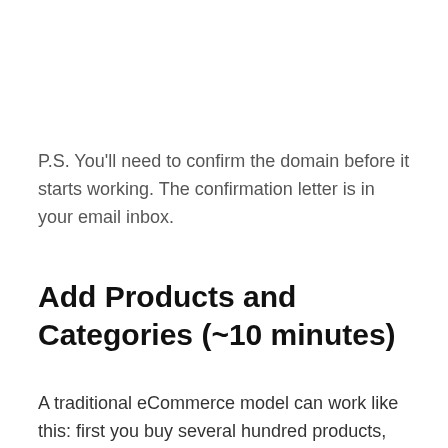P.S. You'll need to confirm the domain before it starts working. The confirmation letter is in your email inbox.
Add Products and Categories (~10 minutes)
A traditional eCommerce model can work like this: first you buy several hundred products, wait for the stock delivery, set up the prices...